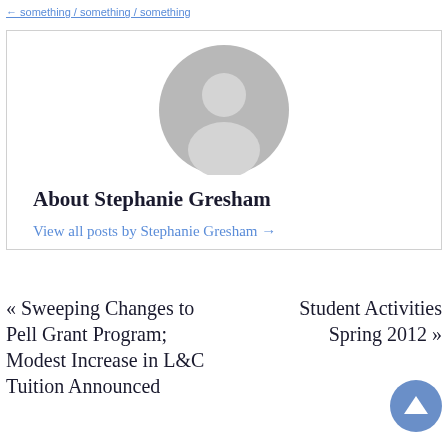← (breadcrumb link)
[Figure (illustration): Generic grey user avatar circle with silhouette of a person, inside an author bio box]
About Stephanie Gresham
View all posts by Stephanie Gresham →
« Sweeping Changes to Pell Grant Program; Modest Increase in L&C Tuition Announced
Student Activities Spring 2012 »